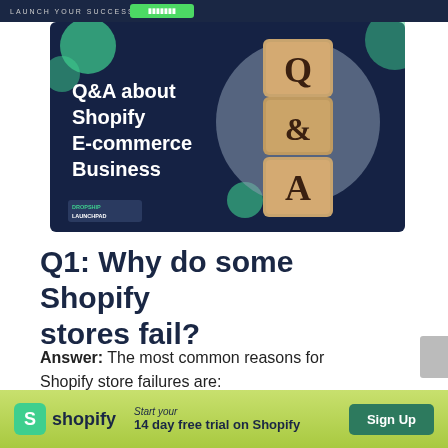LAUNCH YOUR SUCCESS
[Figure (illustration): Promotional banner for Q&A about Shopify E-commerce Business, featuring wooden letter blocks spelling Q & A on a dark navy background with green circular accents and Dropship Launchpad branding.]
Q1: Why do some Shopify stores fail?
Answer: The most common reasons for Shopify store failures are:
Start your 14 day free trial on Shopify  Sign Up